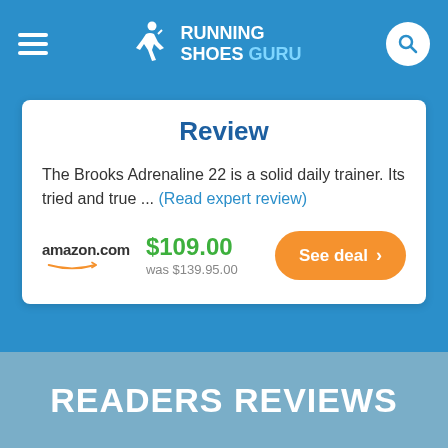RUNNING SHOES GURU
Review
The Brooks Adrenaline 22 is a solid daily trainer. Its tried and true ... (Read expert review)
amazon.com $109.00 was $139.95.00 See deal
READERS REVIEWS